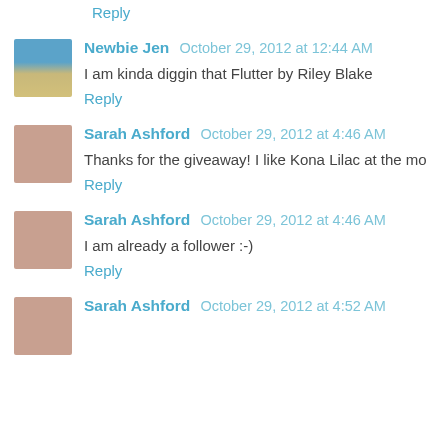Reply
Newbie Jen   October 29, 2012 at 12:44 AM
I am kinda diggin that Flutter by Riley Blake
Reply
Sarah Ashford   October 29, 2012 at 4:46 AM
Thanks for the giveaway! I like Kona Lilac at the mo
Reply
Sarah Ashford   October 29, 2012 at 4:46 AM
I am already a follower :-)
Reply
Sarah Ashford   October 29, 2012 at 4:52 AM